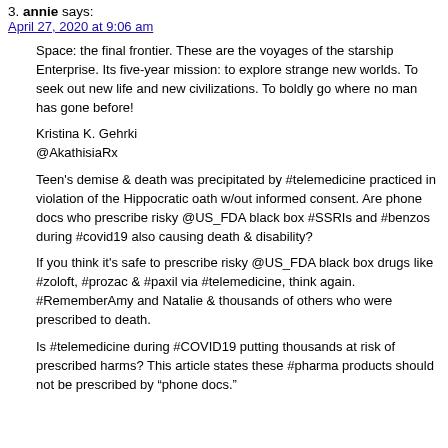3. annie says:
April 27, 2020 at 9:06 am
Space: the final frontier. These are the voyages of the starship Enterprise. Its five-year mission: to explore strange new worlds. To seek out new life and new civilizations. To boldly go where no man has gone before!
Kristina K. Gehrki
@AkathisiaRx
Teen's demise & death was precipitated by #telemedicine practiced in violation of the Hippocratic oath w/out informed consent. Are phone docs who prescribe risky @US_FDA black box #SSRIs and #benzos during #covid19 also causing death & disability?
If you think it's safe to prescribe risky @US_FDA black box drugs like #zoloft, #prozac & #paxil via #telemedicine, think again. #RememberAmy and Natalie & thousands of others who were prescribed to death.
Is #telemedicine during #COVID19 putting thousands at risk of prescribed harms? This article states these #pharma products should not be prescribed by “phone docs.”